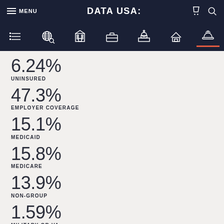MENU | DATA USA: | [cart] [search]
6.24% UNINSURED
47.3% EMPLOYER COVERAGE
15.1% MEDICAID
15.8% MEDICARE
13.9% NON-GROUP
1.59% MILITARY OR VA
Between 2018 and 2019, the percent of uninsured citizens in…